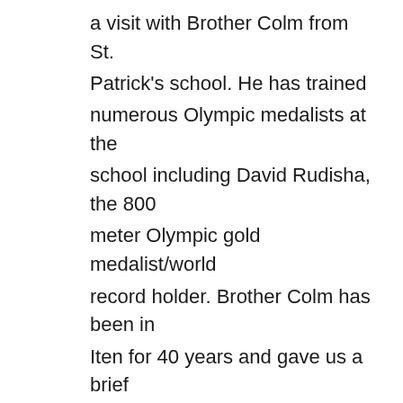a visit with Brother Colm from St. Patrick's school. He has trained numerous Olympic medalists at the school including David Rudisha, the 800 meter Olympic gold medalist/world record holder. Brother Colm has been in Iten for 40 years and gave us a brief history of running in Iten. All the glory belongs to God for these connections and opportunities. I had planned for the clinic and seminar but left the rest up to God. I was apprehensive at the start of the trip. Would we have patients in the clinic or would anyone attend the seminar? How would the group function together as a team? Would we be able to connect with other coaches and athletes? God provided abundantly in all these areas.